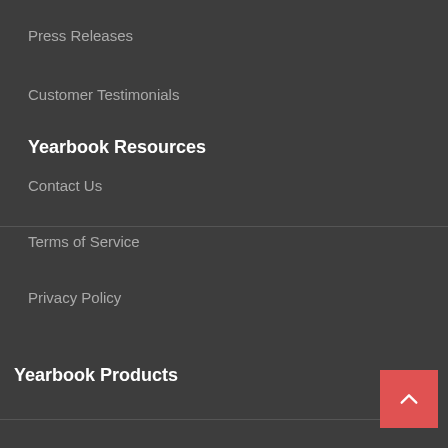Press Releases
Customer Testimonials
Yearbook Resources
Contact Us
Terms of Service
Privacy Policy
Yearbook Products